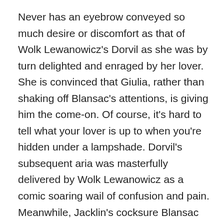Never has an eyebrow conveyed so much desire or discomfort as that of Wolk Lewanowicz's Dorvil as she was by turn delighted and enraged by her lover. She is convinced that Giulia, rather than shaking off Blansac's attentions, is giving him the come-on. Of course, it's hard to tell what your lover is up to when you're hidden under a lampshade. Dorvil's subsequent aria was masterfully delivered by Wolk Lewanowicz as a comic soaring wail of confusion and pain. Meanwhile, Jacklin's cocksure Blansac continued to strut his stuff and voice his desires in muscular bass to anyone who would listen. Fortunately Tamsin Davidson's ditsy and coquettish Lucilla was easily won over, with her limber suggestive soprano a fitting counterpoint to Jacklin's macho playfulness. As Giulia, Ines Simoes was a superb spider at the centre of the web of confusion. Her fast-fire expressive asides and animated